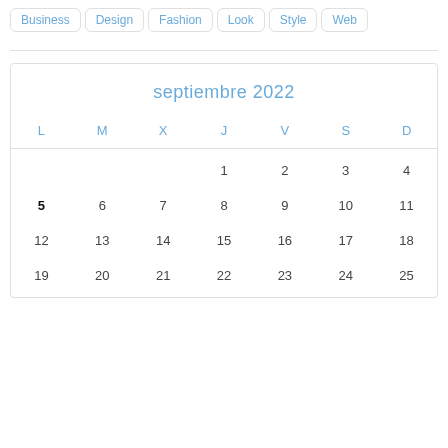Business | Design | Fashion | Look | Style | Web
| L | M | X | J | V | S | D |
| --- | --- | --- | --- | --- | --- | --- |
|  |  |  | 1 | 2 | 3 | 4 |
| 5 | 6 | 7 | 8 | 9 | 10 | 11 |
| 12 | 13 | 14 | 15 | 16 | 17 | 18 |
| 19 | 20 | 21 | 22 | 23 | 24 | 25 |